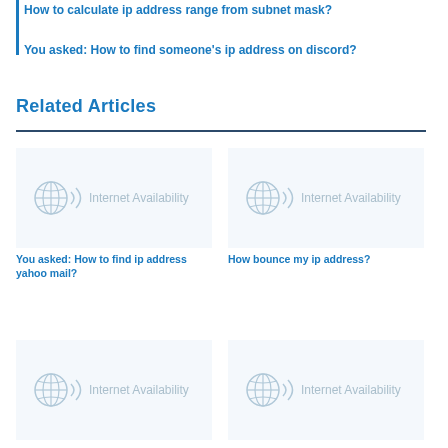How to calculate ip address range from subnet mask?
You asked: How to find someone's ip address on discord?
Related Articles
[Figure (illustration): Internet Availability placeholder image with globe/network icon]
[Figure (illustration): Internet Availability placeholder image with globe/network icon]
You asked: How to find ip address yahoo mail?
How bounce my ip address?
[Figure (illustration): Internet Availability placeholder image with globe/network icon]
[Figure (illustration): Internet Availability placeholder image with globe/network icon]